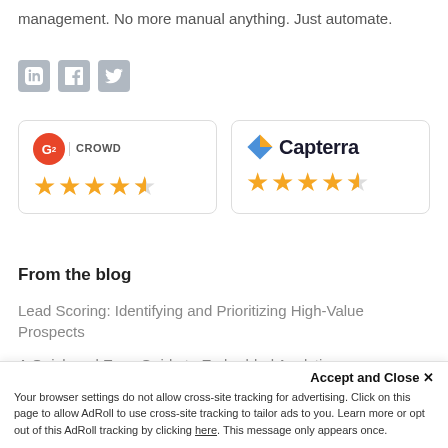management. No more manual anything. Just automate.
[Figure (logo): LinkedIn, Facebook, Twitter social share icons]
[Figure (infographic): G2 Crowd rating box with 4.5 stars]
[Figure (infographic): Capterra rating box with 4.5 stars]
From the blog
Lead Scoring: Identifying and Prioritizing High-Value Prospects
A Quick and Easy Guide to Embedded Analytics
Account-Based Marketing Explained: Benefits, Tactics, & Examples
Accept and Close ✕
Your browser settings do not allow cross-site tracking for advertising. Click on this page to allow AdRoll to use cross-site tracking to tailor ads to you. Learn more or opt out of this AdRoll tracking by clicking here. This message only appears once.